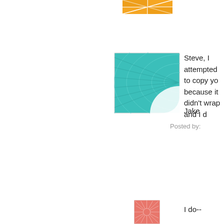[Figure (illustration): Orange/yellow geometric pattern avatar icon at top center]
[Figure (illustration): Teal/green radial wave pattern avatar icon]
Steve, I attempted to copy yo because it didn't wrap and I d
Jake
Posted by:
[Figure (illustration): Coral/red starburst pattern avatar icon]
I do--
"A federal judge in Eugene o against a defunct Islamic org preserves the government's a the charity in the future if they
Al Haramain Islamic Foundat February on two tax charges $150,000 in donations five ye The charity has been designa officials who say the group ha
Federal prosecutors sought t month, saying it would be a w